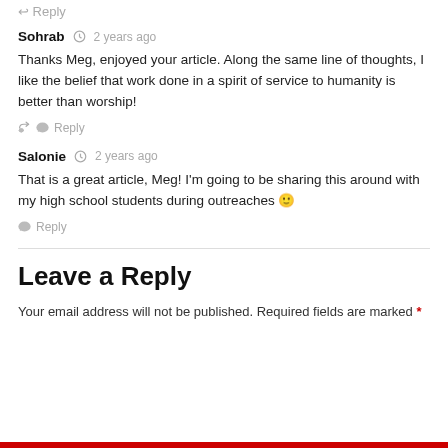Reply
Sohrab  2 years ago
Thanks Meg, enjoyed your article. Along the same line of thoughts, I like the belief that work done in a spirit of service to humanity is better than worship!
Reply
Salonie  2 years ago
That is a great article, Meg! I'm going to be sharing this around with my high school students during outreaches 🙂
Reply
Leave a Reply
Your email address will not be published. Required fields are marked *